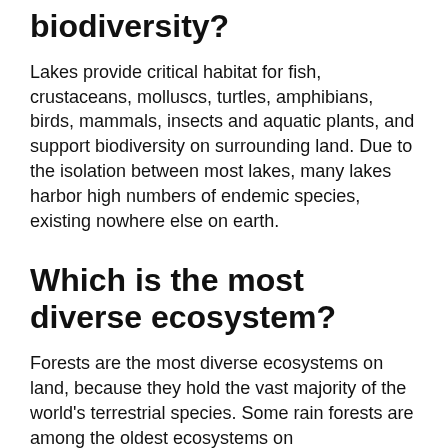biodiversity?
Lakes provide critical habitat for fish, crustaceans, molluscs, turtles, amphibians, birds, mammals, insects and aquatic plants, and support biodiversity on surrounding land. Due to the isolation between most lakes, many lakes harbor high numbers of endemic species, existing nowhere else on earth.
Which is the most diverse ecosystem?
Forests are the most diverse ecosystems on land, because they hold the vast majority of the world's terrestrial species. Some rain forests are among the oldest ecosystems on